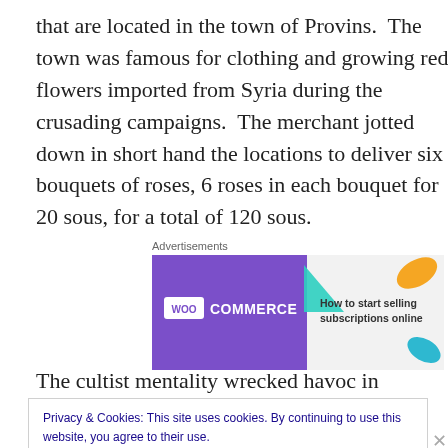that are located in the town of Provins.  The town was famous for clothing and growing red flowers imported from Syria during the crusading campaigns.  The merchant jotted down in short hand the locations to deliver six bouquets of roses, 6 roses in each bouquet for 20 sous, for a total of 120 sous.
[Figure (other): WooCommerce advertisement banner: purple background with WooCommerce logo on left and 'How to start selling subscriptions online' text on right with colorful leaf shapes]
The cultist mentality wrecked havoc in Europe for 600
Privacy & Cookies: This site uses cookies. By continuing to use this website, you agree to their use.
To find out more, including how to control cookies, see here: Cookie Policy